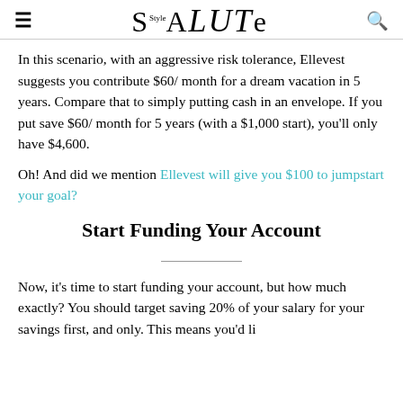Style SALUTE
In this scenario, with an aggressive risk tolerance, Ellevest suggests you contribute $60/ month for a dream vacation in 5 years. Compare that to simply putting cash in an envelope. If you put save $60/ month for 5 years (with a $1,000 start), you’ll only have $4,600.
Oh! And did we mention Ellevest will give you $100 to jumpstart your goal?
Start Funding Your Account
Now, it’s time to start funding your account, but how much exactly? You should target saving 20% of your salary for your savings first, and only. This means you’d like